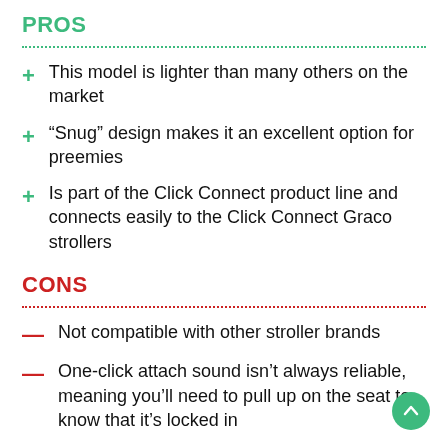PROS
This model is lighter than many others on the market
“Snug” design makes it an excellent option for preemies
Is part of the Click Connect product line and connects easily to the Click Connect Graco strollers
CONS
Not compatible with other stroller brands
One-click attach sound isn’t always reliable, meaning you’ll need to pull up on the seat to know that it’s locked in